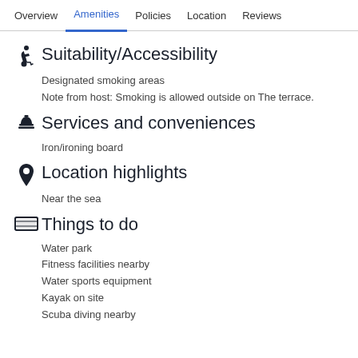Overview | Amenities | Policies | Location | Reviews
Suitability/Accessibility
Designated smoking areas
Note from host: Smoking is allowed outside on The terrace.
Services and conveniences
Iron/ironing board
Location highlights
Near the sea
Things to do
Water park
Fitness facilities nearby
Water sports equipment
Kayak on site
Scuba diving nearby